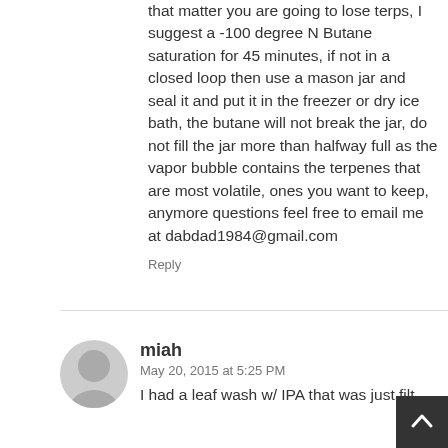that matter you are going to lose terps, I suggest a -100 degree N Butane saturation for 45 minutes, if not in a closed loop then use a mason jar and seal it and put it in the freezer or dry ice bath, the butane will not break the jar, do not fill the jar more than halfway full as the vapor bubble contains the terpenes that are most volatile, ones you want to keep, anymore questions feel free to email me at dabdad1984@gmail.com
Reply
miah
May 20, 2015 at 5:25 PM
I had a leaf wash w/ IPA that was just filt